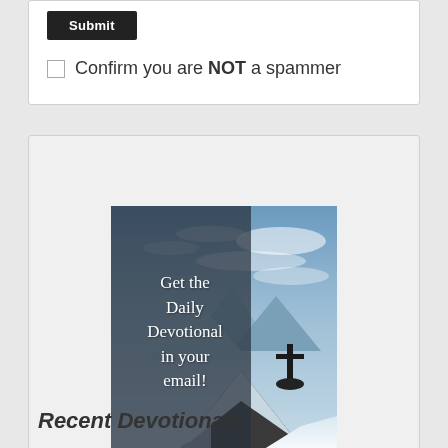Submit
Confirm you are NOT a spammer
[Figure (photo): Mountain landscape with a cross silhouette on a rocky summit against a cloudy sky, with snowy peaks in the background. Text overlay reads: 'Get the Daily Devotional in your email!']
Recent Devotionals